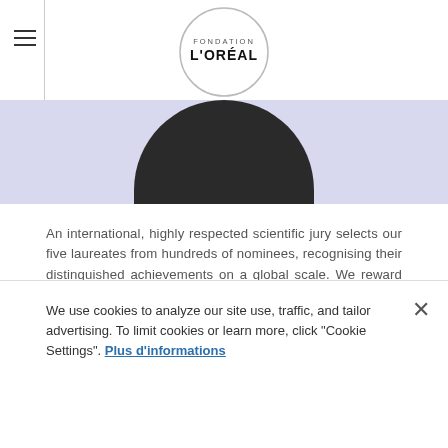[Figure (logo): Fondation L'Oréal logo — circle outline with FONDATION L'ORÉAL text inside]
[Figure (photo): Cropped photo of a person against a lavender/periwinkle background, showing top of dark head/hair]
An international, highly respected scientific jury selects our five laureates from hundreds of nominees, recognising their distinguished achievements on a global scale. We reward researchers in Life and Environmental Sciences, and Physical Science, Mathematics and Computer Science in alternate years. To support women-led scientific excellence in addressing societal needs worldwide, we select one
We use cookies to analyze our site use, traffic, and tailor advertising. To limit cookies or learn more, click "Cookie Settings". Plus d'informations